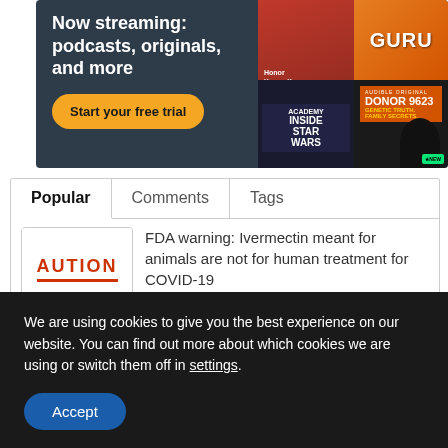[Figure (illustration): Audible streaming ad banner with dark background showing 'Now streaming: podcasts, originals, and more' text, orange 'Start your free trial' button, and book/show cover images including GURU and DONOR 9623]
| Popular | Comments | Tags |
| --- | --- | --- |
| [image: AUTION caution box] | FDA warning: Ivermectin meant for animals are not for human treatment for COVID-19 |
| [image: Ivermectin bottle] | Ivermectin is highly effective as a safe prophylaxis and treatment for |
We are using cookies to give you the best experience on our website. You can find out more about which cookies we are using or switch them off in settings.